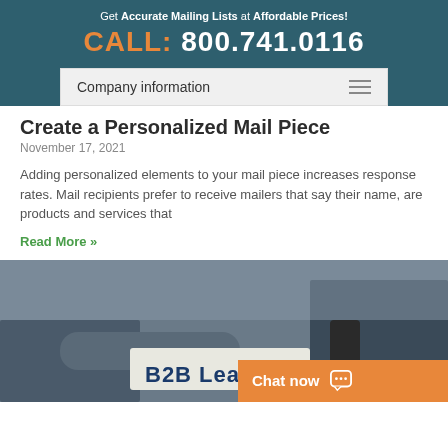Get Accurate Mailing Lists at Affordable Prices! CALL: 800.741.0116
Company information
Create a Personalized Mail Piece
November 17, 2021
Adding personalized elements to your mail piece increases response rates. Mail recipients prefer to receive mailers that say their name, are products and services that
Read More »
[Figure (photo): Business people shaking hands with a sign reading B2B Leads, and a chat now button overlay in the bottom right corner]